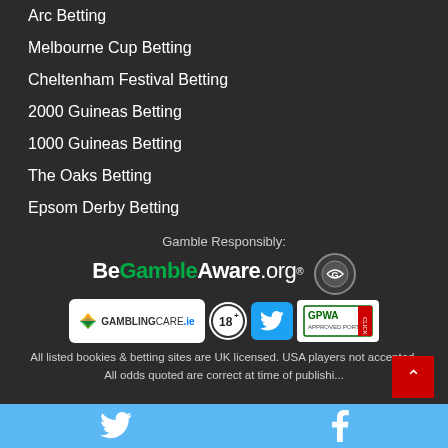Arc Betting
Melbourne Cup Betting
Cheltenham Festival Betting
2000 Guineas Betting
1000 Guineas Betting
The Oaks Betting
Epsom Derby Betting
Gamble Responsibly:
[Figure (logo): BeGambleAware.org logo and GamCare logo]
[Figure (logo): GamblingCare.ie badge, 18+ badge, Twitter badge, GPWA Approved Portal badge]
All listed bookies & betting sites are UK licensed. USA players not accepted.
All odds quoted are correct at time of publishi...
Twitter share | Facebook share